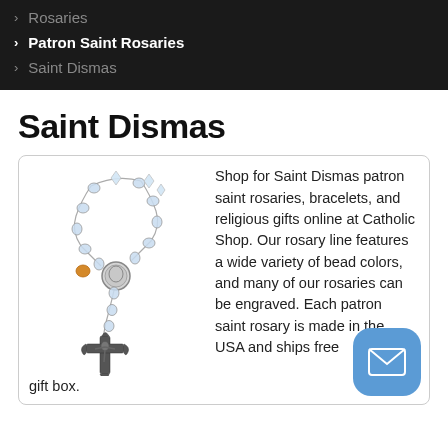Rosaries
Patron Saint Rosaries
Saint Dismas
Saint Dismas
[Figure (photo): A crystal/silver rosary with decorative crucifix and center medallion]
Shop for Saint Dismas patron saint rosaries, bracelets, and religious gifts online at Catholic Shop. Our rosary line features a wide variety of bead colors, and many of our rosaries can be engraved. Each patron saint rosary is made in the USA and ships free gift box.